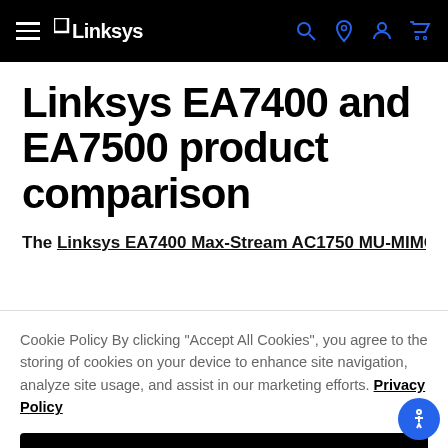Linksys navigation bar with hamburger menu, Linksys logo, and icons for search, location, account, and cart
Linksys EA7400 and EA7500 product comparison
The Linksys EA7400 Max-Stream AC1750 MU-MIMO Gigabit
Cookie Policy By clicking "Accept All Cookies", you agree to the storing of cookies on your device to enhance site navigation, analyze site usage, and assist in our marketing efforts. Privacy Policy
No, let me choose
Reject All